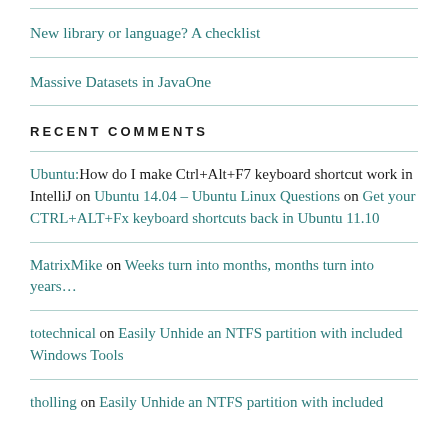New library or language? A checklist
Massive Datasets in JavaOne
RECENT COMMENTS
Ubuntu:How do I make Ctrl+Alt+F7 keyboard shortcut work in IntelliJ on Ubuntu 14.04 – Ubuntu Linux Questions on Get your CTRL+ALT+Fx keyboard shortcuts back in Ubuntu 11.10
MatrixMike on Weeks turn into months, months turn into years…
totechnical on Easily Unhide an NTFS partition with included Windows Tools
tholling on Easily Unhide an NTFS partition with included